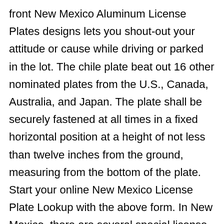front New Mexico Aluminum License Plates designs lets you shout-out your attitude or cause while driving or parked in the lot. The chile plate beat out 16 other nominated plates from the U.S., Canada, Australia, and Japan. The plate shall be securely fastened at all times in a fixed horizontal position at a height of not less than twelve inches from the ground, measuring from the bottom of the plate. Start your online New Mexico License Plate Lookup with the above form. In New Mexico, there are several special license plate options to choose, from vanity plates to custom plates for causes and organizations. Plate has scratches, dents, dings, and other blemishes from being used on a car. License plate registration charges are also applicable for all the non-standard plates regardless of their category. License plates can be selected from a vast range of options which are